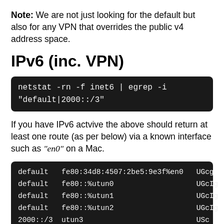Note: We are not just looking for the default but also for any VPN that overrides the public v4 address space.
IPv6 (inc. VPN)
[Figure (screenshot): Dark code block showing: netstat -rn -f inet6 | egrep -i "default|2000::/3"]
If you have IPv6 actvive the above should return at least one route (as per below) via a known interface such as "en0" on a Mac.
[Figure (screenshot): Dark terminal output showing routing table entries: default fe80:34d8:4507:2be5:9e3f%en0 UGcg, default fe80::%utun0 UGcIg, default fe80::%utun1 UGcIg, default fe80::%utun2 UGcIg, 2000::/3 utun3 USc]